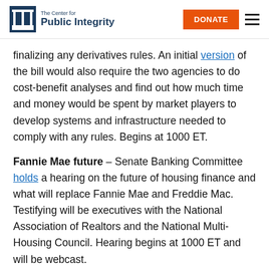The Center for Public Integrity | DONATE
finalizing any derivatives rules. An initial version of the bill would also require the two agencies to do cost-benefit analyses and find out how much time and money would be spent by market players to develop systems and infrastructure needed to comply with any rules. Begins at 1000 ET.
Fannie Mae future – Senate Banking Committee holds a hearing on the future of housing finance and what will replace Fannie Mae and Freddie Mac. Testifying will be executives with the National Association of Realtors and the National Multi-Housing Council. Hearing begins at 1000 ET and will be webcast.